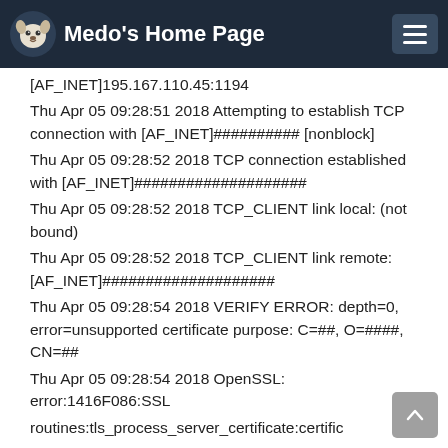Medo's Home Page
[AF_INET]195.167.110.45:1194
Thu Apr 05 09:28:51 2018 Attempting to establish TCP connection with [AF_INET]########## [nonblock]
Thu Apr 05 09:28:52 2018 TCP connection established with [AF_INET]####################
Thu Apr 05 09:28:52 2018 TCP_CLIENT link local: (not bound)
Thu Apr 05 09:28:52 2018 TCP_CLIENT link remote: [AF_INET]####################
Thu Apr 05 09:28:54 2018 VERIFY ERROR: depth=0, error=unsupported certificate purpose: C=##, O=####, CN=##
Thu Apr 05 09:28:54 2018 OpenSSL: error:1416F086:SSL routines:tls_process_server_certificate:certific